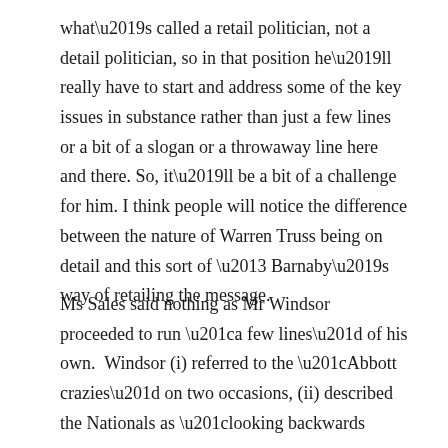what's called a retail politician, not a detail politician, so in that position he'll really have to start and address some of the key issues in substance rather than just a few lines or a bit of a slogan or a throwaway line here and there. So, it'll be a bit of a challenge for him. I think people will notice the difference between the nature of Warren Truss being on detail and this sort of – Barnaby's way of retailing the message.
Ms Sales said nothing as Mr Windsor proceeded to run “a few lines” of his own.  Windsor (i) referred to the “Abbott crazies” on two occasions, (ii) described the Nationals as “looking backwards